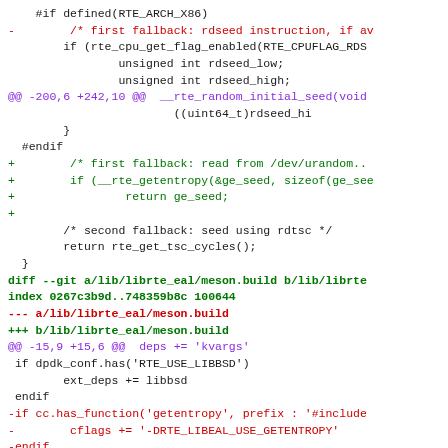[Figure (screenshot): A code diff showing changes to C source files and a meson.build file, with removed lines in red, added lines in green, hunk headers in purple, and diff headers in orange/bold.]